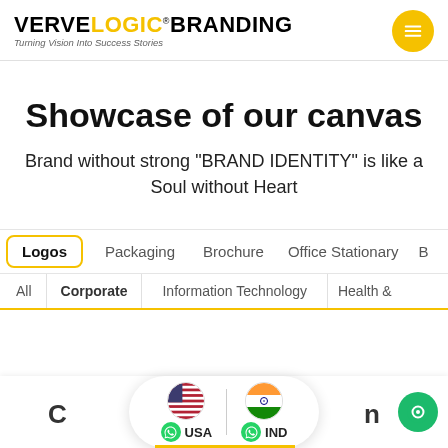VERVELOGIC® BRANDING — Turning Vision Into Success Stories
Showcase of our canvas
Brand without strong "BRAND IDENTITY" is like a Soul without Heart
Logos | Packaging | Brochure | Office Stationary | B…
All | Corporate | Information Technology | Health &…
[Figure (infographic): Bottom contact bar with USA and IND WhatsApp contact options with flag icons, a chat bubble icon on the right, and a yellow underline indicator at the bottom center.]